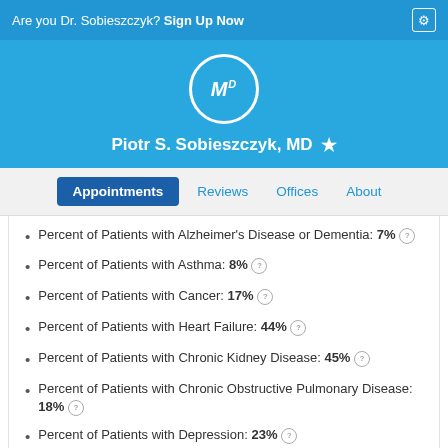Are you Dr. Sobieszczyk? Sign Up Now
[Figure (logo): MD logo circle with doctor name Piotr S. Sobieszczyk, MD and star icon on blue background]
Percent of Patients with Alzheimer's Disease or Dementia: 7%
Percent of Patients with Asthma: 8%
Percent of Patients with Cancer: 17%
Percent of Patients with Heart Failure: 44%
Percent of Patients with Chronic Kidney Disease: 45%
Percent of Patients with Chronic Obstructive Pulmonary Disease: 18%
Percent of Patients with Depression: 23%
Percent of Patients with Diabetes: 44%